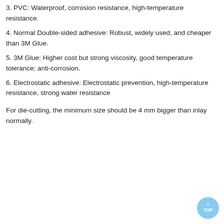3. PVC: Waterproof, corrosion resistance, high-temperature resistance.
4. Normal Double-sided adhesive: Robust, widely used, and cheaper than 3M Glue.
5. 3M Glue: Higher cost but strong viscosity, good temperature tolerance; anti-corrosion.
6. Electrostatic adhesive: Electrostatic prevention, high-temperature resistance, strong water resistance
For die-cutting, the minimum size should be 4 mm bigger than inlay normally.